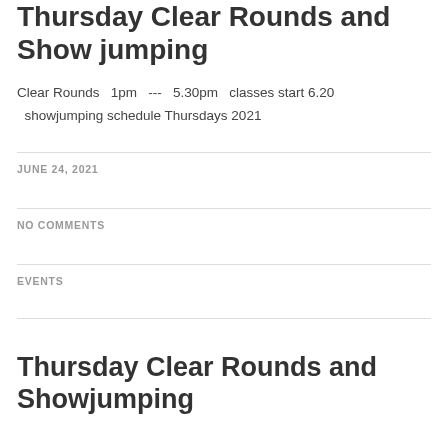Thursday Clear Rounds and Show jumping
Clear Rounds  1pm  ---  5.30pm  classes start 6.20  showjumping schedule Thursdays 2021
JUNE 24, 2021
NO COMMENTS
EVENTS
Thursday Clear Rounds and Showjumping